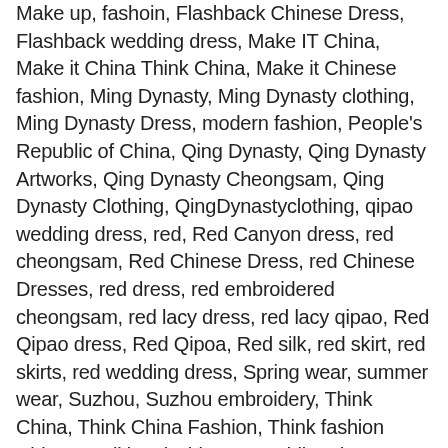Make up, fashoin, Flashback Chinese Dress, Flashback wedding dress, Make IT China, Make it China Think China, Make it Chinese fashion, Ming Dynasty, Ming Dynasty clothing, Ming Dynasty Dress, modern fashion, People's Republic of China, Qing Dynasty, Qing Dynasty Artworks, Qing Dynasty Cheongsam, Qing Dynasty Clothing, QingDynastyclothing, qipao wedding dress, red, Red Canyon dress, red cheongsam, Red Chinese Dress, red Chinese Dresses, red dress, red embroidered cheongsam, red lacy dress, red lacy qipao, Red Qipao dress, Red Qipoa, Red silk, red skirt, red skirts, red wedding dress, Spring wear, summer wear, Suzhou, Suzhou embroidery, Think China, Think China Fashion, Think fashion China, Traditional Chinese Wedding dress, traditional wedding dress, wedding, wedding dress, wedding dresses, wedding fashion, weddings, work wear Chinese Wedding dress, 旗袍, 和服